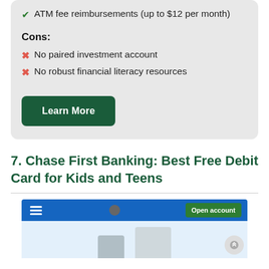✔ ATM fee reimbursements (up to $12 per month)
Cons:
✗ No paired investment account
✗ No robust financial literacy resources
Learn More
7. Chase First Banking: Best Free Debit Card for Kids and Teens
[Figure (screenshot): Screenshot of Chase First Banking website with blue navigation bar and partial page content showing card imagery]